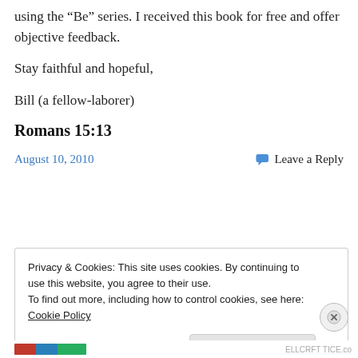using the “Be” series. I received this book for free and offer objective feedback.
Stay faithful and hopeful,
Bill (a fellow-laborer)
Romans 15:13
August 10, 2010   Leave a Reply
Privacy & Cookies: This site uses cookies. By continuing to use this website, you agree to their use.
To find out more, including how to control cookies, see here: Cookie Policy